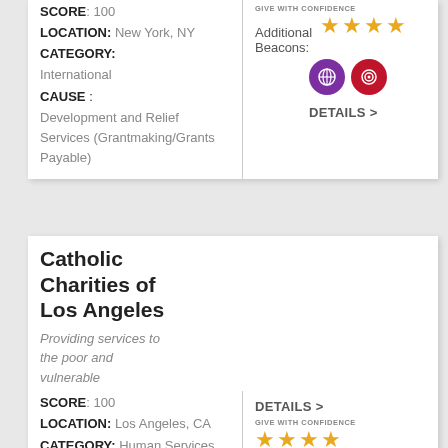SCORE: 100
LOCATION: New York, NY
CATEGORY: International
CAUSE: Development and Relief Services (Grantmaking/Grants Payable)
[Figure (infographic): Give With Confidence 4-star rating badge with two beacon icons (purple globe and red target)]
DETAILS >
Catholic Charities of Los Angeles
Providing services to the poor and vulnerable
SCORE: 100
LOCATION: Los Angeles, CA
CATEGORY: Human Services
[Figure (infographic): Give With Confidence 4-star rating badge]
DETAILS >